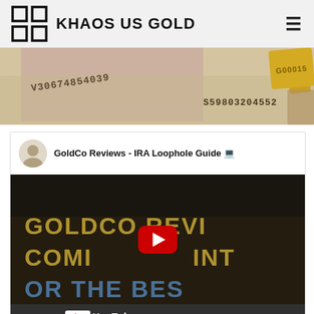KHAOS US GOLD
[Figure (photo): Hero image showing currency notes with serial numbers V30674854039, S59803204552 and a gold bar stamped G00015]
[Figure (screenshot): YouTube embed showing 'GoldCo Reviews - IRA Loophole Guide' video with dark overlay text reading 'GOLDCO REVI... COMI...INT... OR THE BES...' and a red play button. Watch on YouTube bar at bottom.]